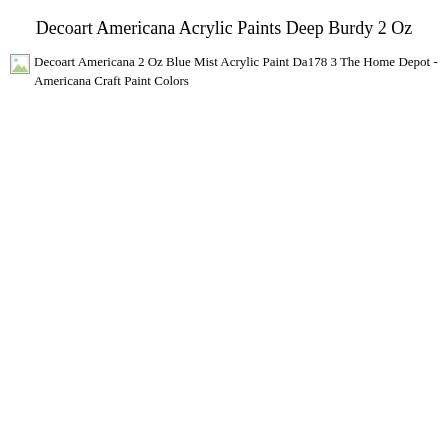Decoart Americana Acrylic Paints Deep Burdy 2 Oz
[Figure (photo): Broken image placeholder with alt text: Decoart Americana 2 Oz Blue Mist Acrylic Paint Da178 3 The Home Depot - Americana Craft Paint Colors]